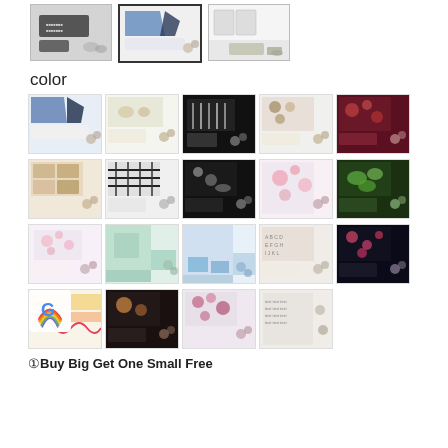[Figure (photo): Three thumbnail product images of kitchen rugs/mats shown at the top of the page. The middle one is selected with a border.]
color
[Figure (photo): Grid of 19 color variant thumbnail images of kitchen mats/rugs in various patterns: geometric, floral, utensils, black and white, etc. Arranged in 4 rows — first 3 rows have 5 thumbnails each, last row has 4 thumbnails. A Google logo overlay appears at bottom-left.]
①Buy Big Get One Small Free